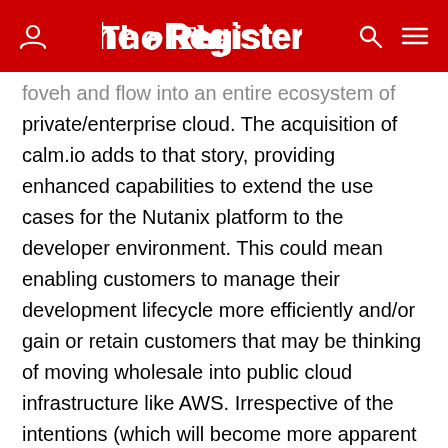The Register
private/enterprise cloud. The acquisition of calm.io adds to that story, providing enhanced capabilities to extend the use cases for the Nutanix platform to the developer environment. This could mean enabling customers to manage their development lifecycle more efficiently and/or gain or retain customers that may be thinking of moving wholesale into public cloud infrastructure like AWS. Irrespective of the intentions (which will become more apparent over time), it’s clear that the focus on ecosystem puts Nutanix a step ahead of vendors like EMC that seem to be still focused on selling the infrastructure rather than the solution.
IPO